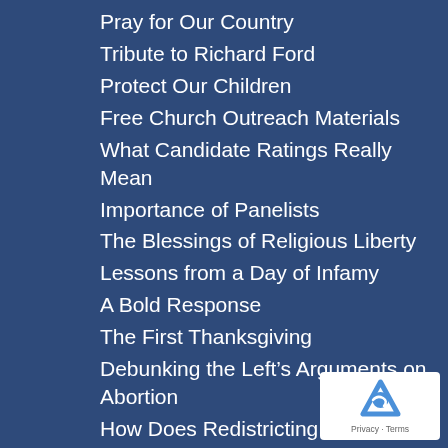Pray for Our Country
Tribute to Richard Ford
Protect Our Children
Free Church Outreach Materials
What Candidate Ratings Really Mean
Importance of Panelists
The Blessings of Religious Liberty
Lessons from a Day of Infamy
A Bold Response
The First Thanksgiving
Debunking the Left’s Arguments on Abortion
How Does Redistricting Affect You?
State Powers vs. Federal Powers
Life or Death Voting
Dobbs vs Jackson
The Importance of Worldview
Pray for the Supreme Court